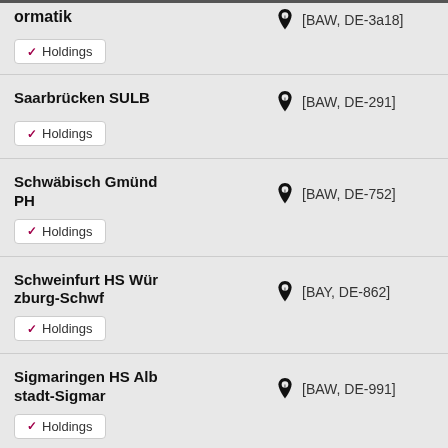ormatik [BAW, DE-3a18] Holdings
Saarbrücken SULB [BAW, DE-291] Holdings
Schwäbisch Gmünd PH [BAW, DE-752] Holdings
Schweinfurt HS Würzburg-Schwf [BAY, DE-862] Holdings
Sigmaringen HS Albstadt-Sigmar [BAW, DE-991] Holdings
Springer Compact A